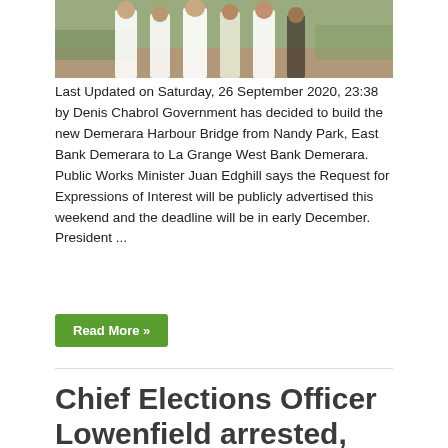[Figure (photo): Group of people standing outdoors on muddy/grassy ground, several men in white shirts]
Last Updated on Saturday, 26 September 2020, 23:38 by Denis Chabrol Government has decided to build the new Demerara Harbour Bridge from Nandy Park, East Bank Demerara to La Grange West Bank Demerara. Public Works Minister Juan Edghill says the Request for Expressions of Interest will be publicly advertised this weekend and the deadline will be in early December. President ...
Read More »
Chief Elections Officer Lowenfield arrested, remained silent, released